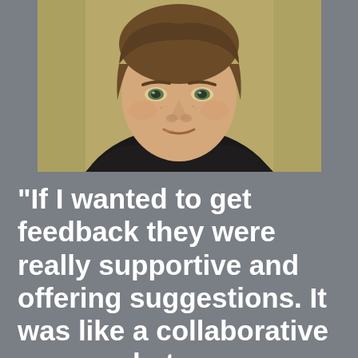[Figure (photo): Headshot of a young man with brown hair, wearing a dark hoodie, smiling slightly, against a tan/olive background]
“If I wanted to get feedback they were really supportive and offering suggestions. It was like a collaborative process between myself and the